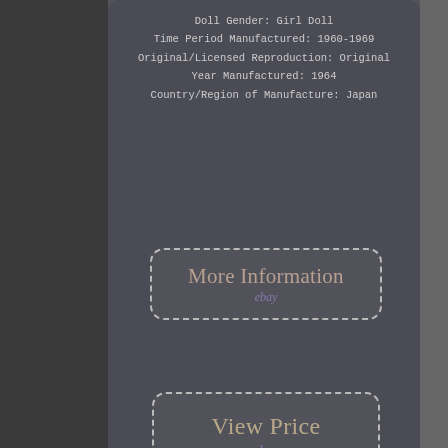Doll Gender: Girl Doll
Time Period Manufactured: 1960-1969
Original/Licensed Reproduction: Original
Year Manufactured: 1964
Country/Region of Manufacture: Japan
[Figure (screenshot): More Information button with dashed border and ebay label]
[Figure (screenshot): View Price button with dashed border and ebay label]
[Figure (infographic): Social share icons: Facebook, Twitter, Pinterest, Email]
[Figure (screenshot): Search bar with text input and Search button]
packaging   manual   complete